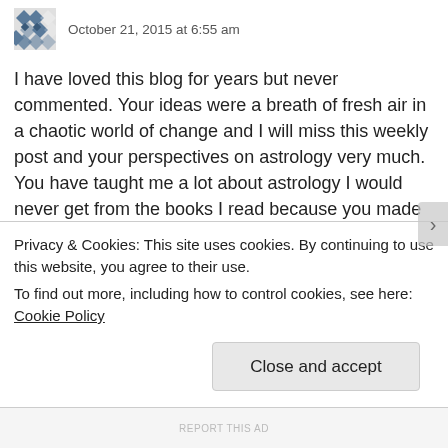October 21, 2015 at 6:55 am
I have loved this blog for years but never commented. Your ideas were a breath of fresh air in a chaotic world of change and I will miss this weekly post and your perspectives on astrology very much. You have taught me a lot about astrology I would never get from the books I read because you made it applicable to what I was living today, not what happened in 1845. I will still follow your writings wherever you take them, and thank you so much for all your hard work and dedication. You did much much more than you give yourself credit for, financially or otherwise. I know your efforts will be
Privacy & Cookies: This site uses cookies. By continuing to use this website, you agree to their use.
To find out more, including how to control cookies, see here: Cookie Policy
Close and accept